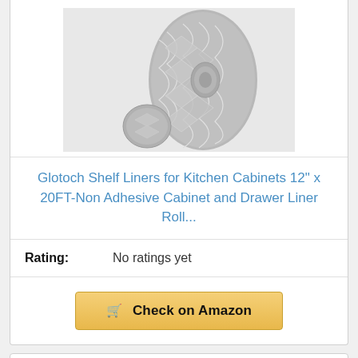[Figure (photo): Roll of gray patterned shelf liner with geometric/lattice design]
Glotoch Shelf Liners for Kitchen Cabinets 12” x 20FT-Non Adhesive Cabinet and Drawer Liner Roll...
Rating: No ratings yet
Check on Amazon
Bestseller No. 18
[Figure (photo): Partial view of striped shelf liner roll product]